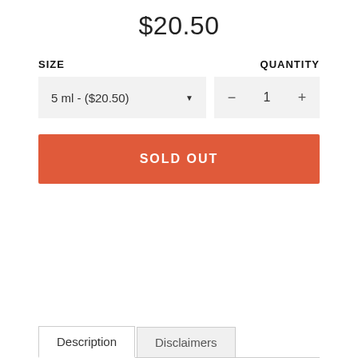$20.50
SIZE
QUANTITY
5 ml - ($20.50)
1
SOLD OUT
Description
Disclaimers
This flowering plant has a colorful history spanning folklore,